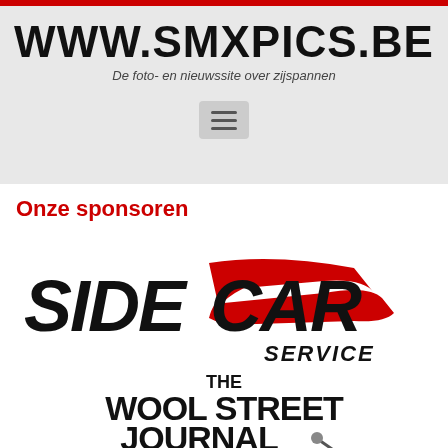WWW.SMXPICS.BE
De foto- en nieuwssite over zijspannen
[Figure (other): Hamburger menu button / navigation icon]
Onze sponsoren
[Figure (logo): Sidecar Service logo in red and black italic style]
[Figure (logo): The Wool Street Journal logo in bold black text]